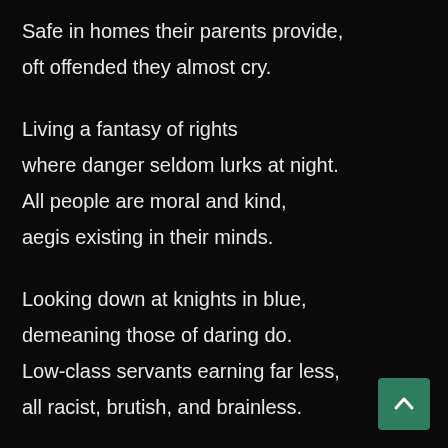Safe in homes their parents provide,
oft offended they almost cry.
Living a fantasy of rights
where danger seldom lurks at night.
All people are moral and kind,
aegis existing in their minds.
Looking down at knights in blue,
demeaning those of daring do.
Low-class servants earning far less,
all racist, brutish, and brainless.